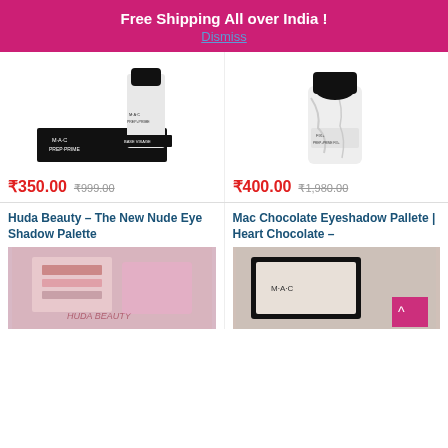Free Shipping All over India ! Dismiss
[Figure (photo): MAC Prep + Prime skin product bottle with box]
₹350.00  ₹999.00
[Figure (photo): MAC Prep + Prime Fix+ spray bottle]
₹400.00  ₹1,980.00
Huda Beauty – The New Nude Eye Shadow Palette
[Figure (photo): Huda Beauty palette product photo]
Mac Chocolate Eyeshadow Pallete | Heart Chocolate –
[Figure (photo): Mac Chocolate Eyeshadow palette product photo]